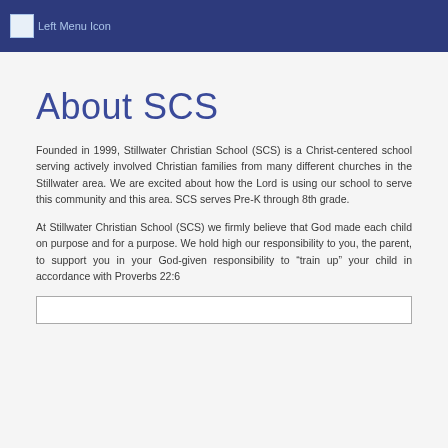Left Menu Icon
About SCS
Founded in 1999, Stillwater Christian School (SCS) is a Christ-centered school serving actively involved Christian families from many different churches in the Stillwater area. We are excited about how the Lord is using our school to serve this community and this area. SCS serves Pre-K through 8th grade.
At Stillwater Christian School (SCS) we firmly believe that God made each child on purpose and for a purpose. We hold high our responsibility to you, the parent, to support you in your God-given responsibility to “train up” your child in accordance with Proverbs 22:6
[Figure (other): Partial view of a box/frame element at the bottom of the page]